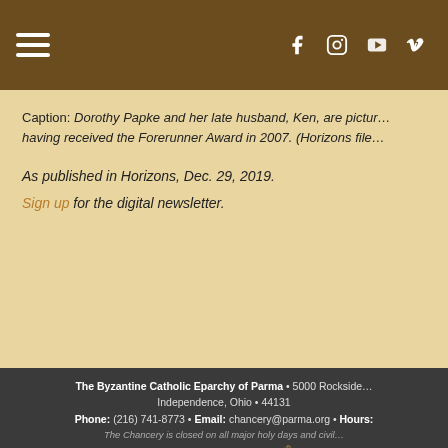Navigation header with hamburger menu and social icons (Facebook, Instagram, YouTube, Vimeo)
Caption: Dorothy Papke and her late husband, Ken, are pictured having received the Forerunner Award in 2007. (Horizons file…
As published in Horizons, Dec. 29, 2019.
Sign up for the digital newsletter.
The Byzantine Catholic Eparchy of Parma • 5000 Rockside Independence, Ohio • 44131 Phone: (216) 741-8773 • Email: chancery@parma.org • Hours: The Chancery is closed on all major holy days and civil… Login | powered by eCatholic®